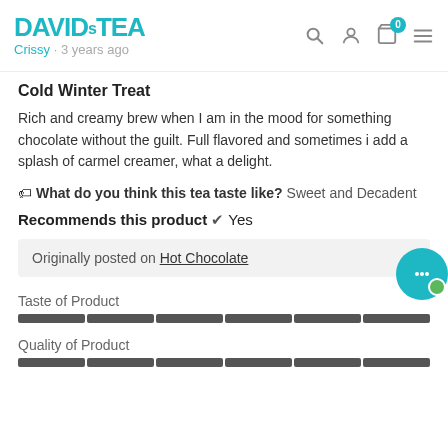DAVIDsTEA — Crissy · 3 years ago
Cold Winter Treat
Rich and creamy brew when I am in the mood for something chocolate without the guilt. Full flavored and sometimes i add a splash of carmel creamer, what a delight.
🏷 What do you think this tea taste like? Sweet and Decadent
Recommends this product ✔ Yes
Originally posted on Hot Chocolate
Taste of Product
[Figure (other): Taste of Product rating bar — fully filled dark segmented bar]
Quality of Product
[Figure (other): Quality of Product rating bar — partially visible dark segmented bar]